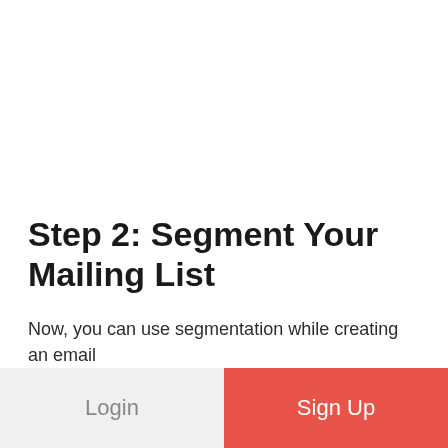Step 2: Segment Your Mailing List
Now, you can use segmentation while creating an email